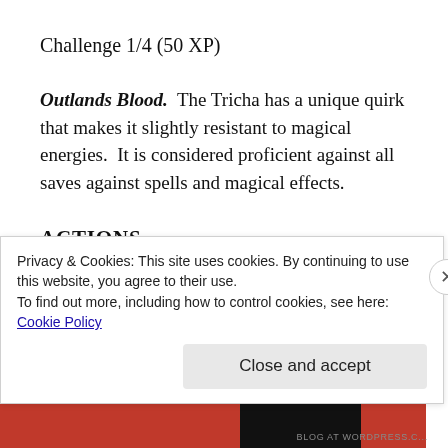Challenge 1/4 (50 XP)
Outlands Blood.  The Tricha has a unique quirk that makes it slightly resistant to magical energies.  It is considered proficient against all saves against spells and magical effects.
ACTIONS
Beak.  Melee Weapon Attack: +2 to hit, reach 5ft
Privacy & Cookies: This site uses cookies. By continuing to use this website, you agree to their use.
To find out more, including how to control cookies, see here:
Cookie Policy
Close and accept